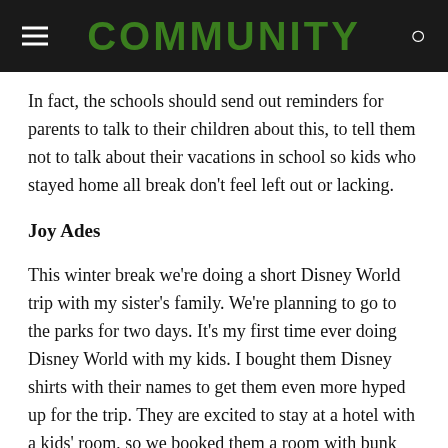COMMUNITY
In fact, the schools should send out reminders for parents to talk to their children about this, to tell them not to talk about their vacations in school so kids who stayed home all break don't feel left out or lacking.
Joy Ades
This winter break we're doing a short Disney World trip with my sister's family. We're planning to go to the parks for two days. It's my first time ever doing Disney World with my kids. I bought them Disney shirts with their names to get them even more hyped up for the trip. They are excited to stay at a hotel with a kids' room, so we booked them a room with bunk beds! My kids have never